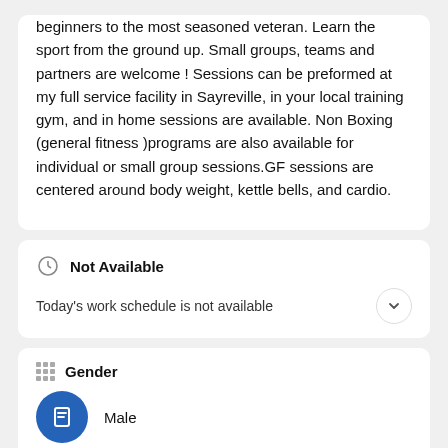beginners to the most seasoned veteran. Learn the sport from the ground up. Small groups, teams and partners are welcome ! Sessions can be preformed at my full service facility in Sayreville, in your local training gym, and in home sessions are available. Non Boxing (general fitness )programs are also available for individual or small group sessions.GF sessions are centered around body weight, kettle bells, and cardio.
Not Available
Today's work schedule is not available
Gender
Male
I Specialize in These Areas